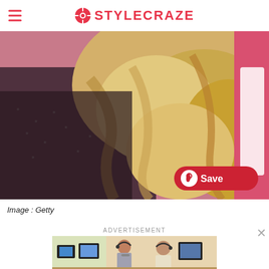STYLECRAZE
[Figure (photo): Close-up photo of a woman with long wavy blonde hair wearing a black mesh/lace top, with a pink background. A red Pinterest Save button is overlaid in the bottom-right corner of the image.]
Image : Getty
ADVERTISEMENT
[Figure (photo): Advertisement image showing two people working at computer workstations with headsets in an office environment.]